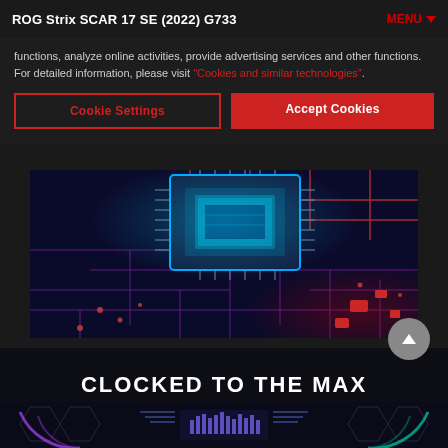ROG Strix SCAR 17 SE (2022) G733   MENU ▼
functions, analyze online activities, provide advertising services and other functions. For detailed information, please visit "Cookies and similar technologies".
Cookie Settings
Accept Cookies
[Figure (photo): Close-up photo of a circuit board with red and blue/cyan lighting, showing CPU chip and circuit traces on a dark blue PCB background.]
CLOCKED TO THE MAX
[Figure (screenshot): Bottom portion of ASUS ROG page showing dark background with decorative gauges/meters and hexagonal design elements in purple/teal colors.]